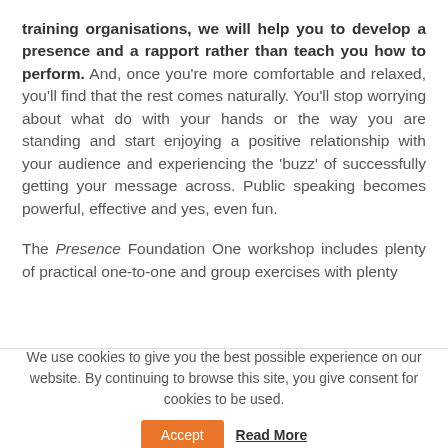training organisations, we will help you to develop a presence and a rapport rather than teach you how to perform. And, once you're more comfortable and relaxed, you'll find that the rest comes naturally. You'll stop worrying about what do with your hands or the way you are standing and start enjoying a positive relationship with your audience and experiencing the 'buzz' of successfully getting your message across. Public speaking becomes powerful, effective and yes, even fun.
The Presence Foundation One workshop includes plenty of practical one-to-one and group exercises with plenty
We use cookies to give you the best possible experience on our website. By continuing to browse this site, you give consent for cookies to be used.